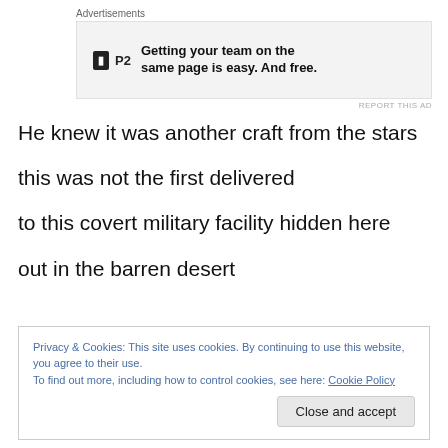[Figure (screenshot): Advertisement banner for P2 with text 'Getting your team on the same page is easy. And free.']
He knew it was another craft from the stars
this was not the first delivered
to this covert military facility hidden here
out in the barren desert
Privacy & Cookies: This site uses cookies. By continuing to use this website, you agree to their use.
To find out more, including how to control cookies, see here: Cookie Policy